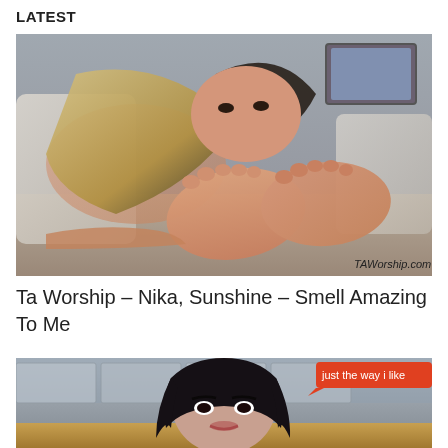LATEST
[Figure (photo): Thumbnail image of a woman on a couch with watermark TAWorship.com]
Ta Worship – Nika, Sunshine – Smell Amazing To Me
[Figure (photo): Thumbnail of a dark-haired woman with a red speech bubble reading 'just the way i like']